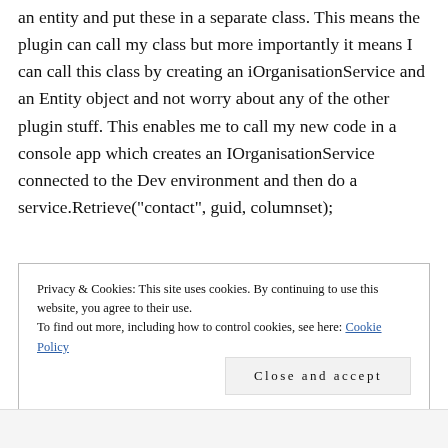an entity and put these in a separate class. This means the plugin can call my class but more importantly it means I can call this class by creating an iOrganisationService and an Entity object and not worry about any of the other plugin stuff. This enables me to call my new code in a console app which creates an IOrganisationService connected to the Dev environment and then do a service.Retrieve("contact", guid, columnset);
Privacy & Cookies: This site uses cookies. By continuing to use this website, you agree to their use.
To find out more, including how to control cookies, see here: Cookie Policy
Close and accept